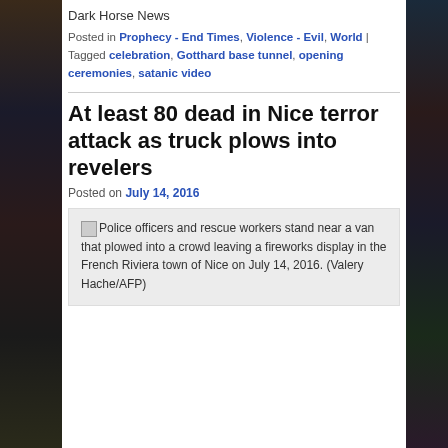Dark Horse News
Posted in Prophecy - End Times, Violence - Evil, World | Tagged celebration, Gotthard base tunnel, opening ceremonies, satanic video
At least 80 dead in Nice terror attack as truck plows into revelers
Posted on July 14, 2016
[Figure (photo): Police officers and rescue workers stand near a van that plowed into a crowd leaving a fireworks display in the French Riviera town of Nice on July 14, 2016. (Valery Hache/AFP)]